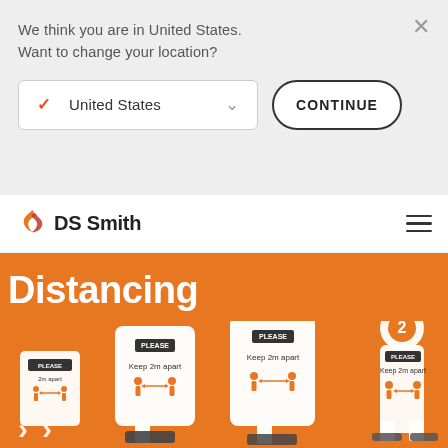We think you are in United States. Want to change your location?
United States
CONTINUE
[Figure (logo): DS Smith company logo with orange flame/arrow icon and DS Smith text]
Distancing
[Figure (photo): Orange banner showing various social distancing signage products with 'Please Keep 2m apart' text and orange human figure icons with 2m distance arrows. Multiple sign formats shown including floor stands and tall display units.]